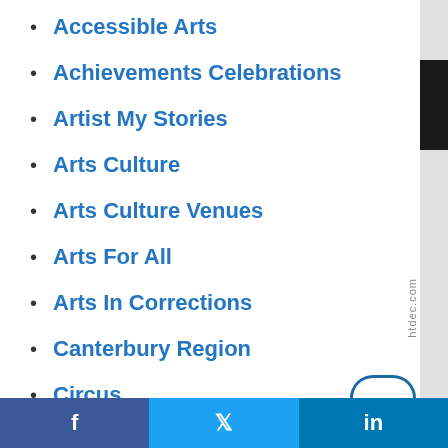Accessible Arts
Achievements Celebrations
Artist My Stories
Arts Culture
Arts Culture Venues
Arts For All
Arts In Corrections
Canterbury Region
Circus
Covid 19
Creative Spaces
f  twitter  in